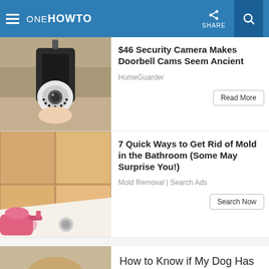ONE HOWTO | SHARE
$46 Security Camera Makes Doorbell Cams Seem Ancient
HomeGuarder
Read More
7 Quick Ways to Get Rid of Mold in the Bathroom (Some May Surprise You!)
Mold Removal | Search Ads
Search Now
How to Know if My Dog Has Parvovirus